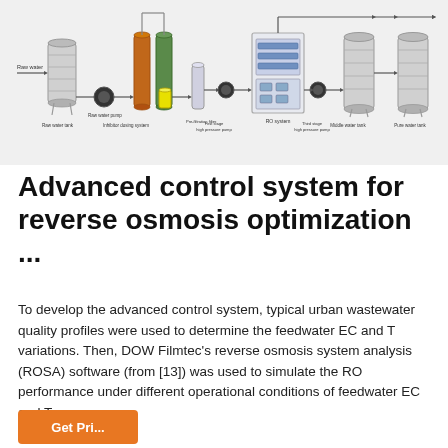[Figure (schematic): Industrial reverse osmosis water treatment system diagram showing: Raw water input, Raw water tank, Raw water pump, Inhibitor dosing system, First stage high pressure pump, Pre-filtration filter, RO system (central unit), Third stage high pressure pump, Middle water tank, Pure water tank. Components connected by pipes with flow arrows.]
Advanced control system for reverse osmosis optimization ...
To develop the advanced control system, typical urban wastewater quality profiles were used to determine the feedwater EC and T variations. Then, DOW Filmtec's reverse osmosis system analysis (ROSA) software (from [13]) was used to simulate the RO performance under different operational conditions of feedwater EC and T.